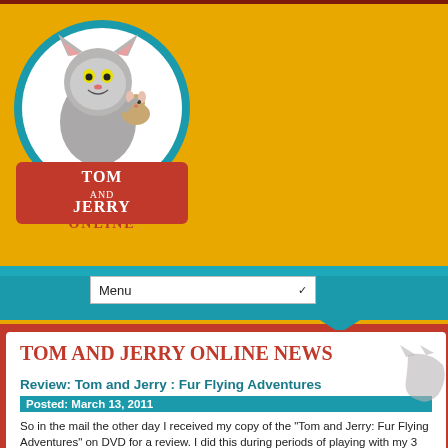[Figure (logo): Tom and Jerry Online logo — circular illustration with Tom the cat holding Jerry the mouse, red banner text 'TOM AND JERRY ONLINE' on yellow background]
[Figure (illustration): Teal ribbon/banner shape forming the navigation bar background, with a dropdown menu labeled 'Menu']
TOM AND JERRY ONLINE NEWS
Review: Tom and Jerry : Fur Flying Adventures
Posted: March 13, 2011
So in the mail the other day I received my copy of the "Tom and Jerry: Fur Flying Adventures" on DVD for a review. I did this during periods of playing with my 3 month old...I'm starting to introduce her to Tom and Jerry :-] Anyway, let's